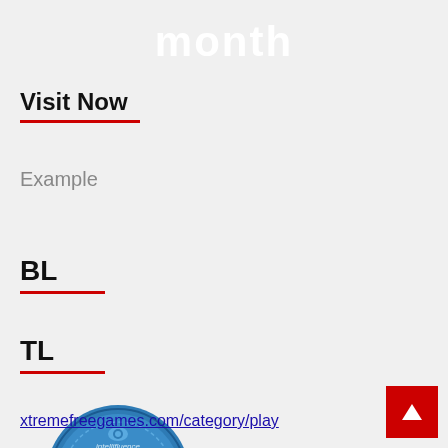month
Visit Now
Example
BL
TL
[Figure (logo): Intellifluence Trusted Blogger badge - circular blue badge with gold ribbon banner reading BLOGGER]
xtremefreegames.com/category/play